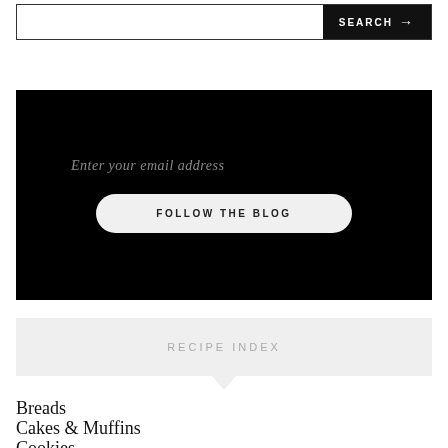[Figure (other): Search bar with white input field and black SEARCH button with arrow]
[Figure (other): Black email subscription section with placeholder text 'Enter your email address' and a 'FOLLOW THE BLOG' pill button]
RECIPE INDEX
Breads
Cakes & Muffins
Cookies